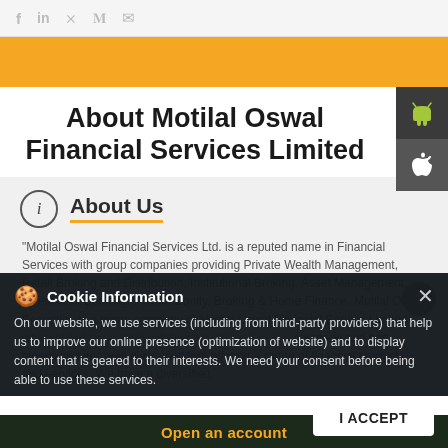Social share icons: f in P Twitter WhatsApp
About Motilal Oswal Financial Services Limited
About Us
"Motilal Oswal Financial Services Ltd. is a reputed name in Financial Services with group companies providing Private Wealth Management, Retail Broking and Distribution, Institutional Broking, Asset Management, Investment Banking, Private Equity, Broking & Home Finance. Motilal Oswal Securities is a group company of Motilal Oswal Financial Service Limited which started as a small sub-broking unit, today is a company and has blossomed into well diversified firm offering a range of financial products and services. We have a diversified...
Cookie Information
On our website, we use services (including from third-party providers) that help us to improve our online presence (optimization of website) and to display content that is geared to their interests. We need your consent before being able to use these services.
I ACCEPT
Open an account